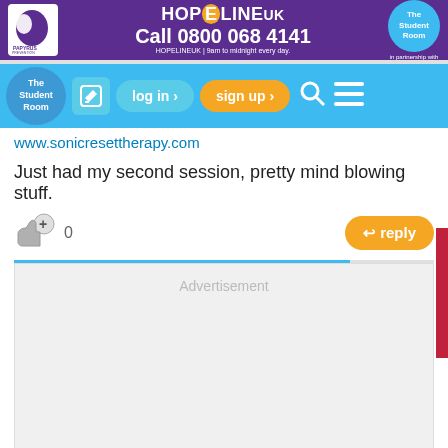[Figure (screenshot): PAPYRUS HOPELINEUK banner ad. Purple background. Text: HOPELINEUK, Call 0800 068 4141. HOPELINEUK | 9am to midnight every day. In partnership with The Student Room badge.]
[Figure (screenshot): The Student Room navigation bar with logo, edit icon, log in button, sign up button, search icon, and menu icon on a light blue background.]
www.sonicresettherapy.com
Just had my second session, pretty mind blowing stuff.
[Figure (screenshot): Like button with +/thumbs up icon and count 0, and orange reply button on the right.]
[Figure (screenshot): Advertisement placeholder box (grey area).]
[Figure (screenshot): Red FEEDBACK vertical tab on the right side.]